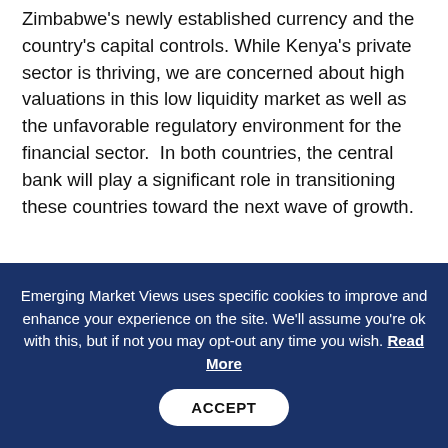Zimbabwe's newly established currency and the country's capital controls. While Kenya's private sector is thriving, we are concerned about high valuations in this low liquidity market as well as the unfavorable regulatory environment for the financial sector.  In both countries, the central bank will play a significant role in transitioning these countries toward the next wave of growth.
South Africa's May election is on the horizon. What should investors be ready for? Are there risks surrounding
Emerging Market Views uses specific cookies to improve and enhance your experience on the site. We'll assume you're ok with this, but if not you may opt-out any time you wish. Read More